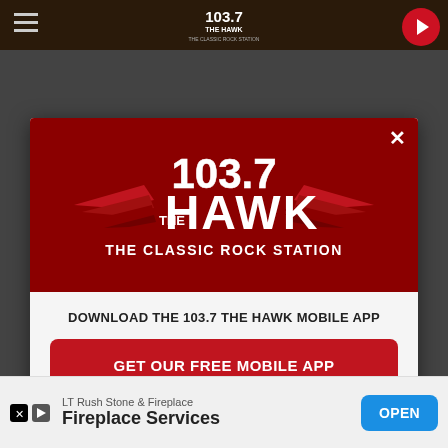[Figure (screenshot): 103.7 The Hawk Classic Rock Station website with mobile app download modal popup]
DOWNLOAD THE 103.7 THE HAWK MOBILE APP
GET OUR FREE MOBILE APP
Also listen on: amazon alexa
LT Rush Stone & Fireplace
Fireplace Services
OPEN